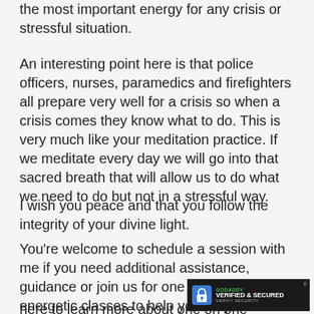the most important energy for any crisis or stressful situation.
An interesting point here is that police officers, nurses, paramedics and firefighters all prepare very well for a crisis so when a crisis comes they know what to do. This is very much like your meditation practice. If we meditate every day we will go into that sacred breath that will allow us to do what we need to do but not in a stressful way.
I wish you peace and that you follow the integrity of your divine light.
You're welcome to schedule a session with me if you need additional assistance, guidance or join us for one of our wonderful energetic classes to help you on your beautiful journey which we d... here to learn more about one on one sessions with
[Figure (logo): GoDaddy Verified & Secured badge with lock icon]